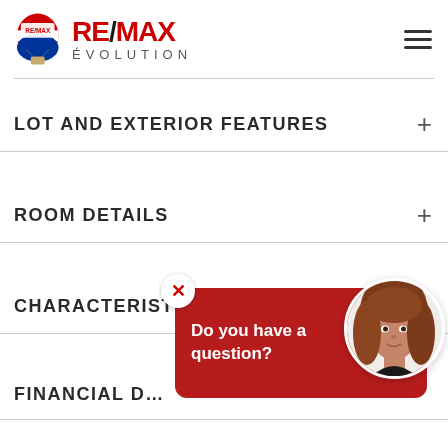[Figure (logo): RE/MAX Évolution logo with hot air balloon icon and brand name]
LOT AND EXTERIOR FEATURES
ROOM DETAILS
CHARACTERISTICS
FINANCIAL D...
[Figure (photo): Chat popup overlay with red background showing 'Do you have a question?' and agent photo of woman with red hair]